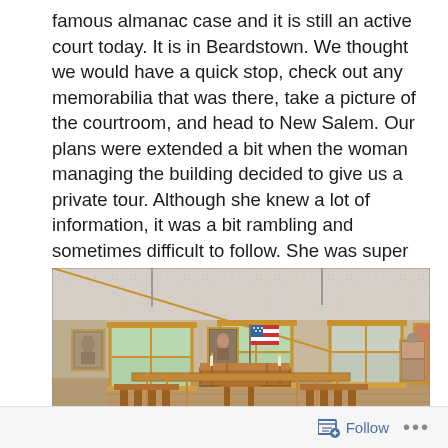famous almanac case and it is still an active court today. It is in Beardstown. We thought we would have a quick stop, check out any memorabilia that was there, take a picture of the courtroom, and head to New Salem. Our plans were extended a bit when the woman managing the building decided to give us a private tour. Although she knew a lot of information, it was a bit rambling and sometimes difficult to follow. She was super sweet though and we appreciated her midwestern hospitality.
[Figure (photo): Interior photograph of a historic courtroom in Beardstown. The room has an ornate tin ceiling, wooden furniture including benches and a judge's bench, an American flag, framed portraits on the walls, and windows with wooden frames. The style is late 19th/early 20th century.]
Follow ...